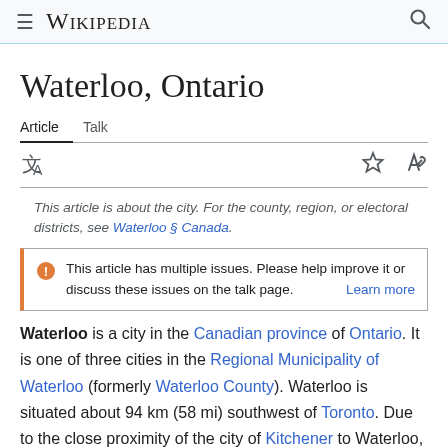Wikipedia
Waterloo, Ontario
Article  Talk
This article is about the city. For the county, region, or electoral districts, see Waterloo § Canada.
This article has multiple issues. Please help improve it or discuss these issues on the talk page. Learn more
Waterloo is a city in the Canadian province of Ontario. It is one of three cities in the Regional Municipality of Waterloo (formerly Waterloo County). Waterloo is situated about 94 km (58 mi) southwest of Toronto. Due to the close proximity of the city of Kitchener to Waterloo, the two